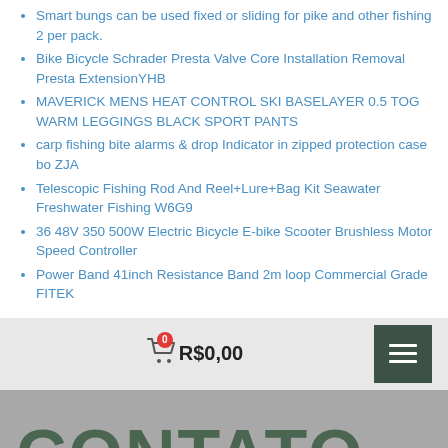Smart bungs can be used fixed or sliding for pike and other fishing 2 per pack.
Bike Bicycle Schrader Presta Valve Core Installation Removal Presta ExtensionYHB
MAVERICK MENS HEAT CONTROL SKI BASELAYER 0.5 TOG WARM LEGGINGS BLACK SPORT PANTS
carp fishing bite alarms & drop Indicator in zipped protection case bo ZJA
Telescopic Fishing Rod And Reel+Lure+Bag Kit Seawater Freshwater Fishing W6G9
36 48V 350 500W Electric Bicycle E-bike Scooter Brushless Motor Speed Controller
Power Band 41inch Resistance Band 2m loop Commercial Grade FITEK
R$0,00
CONTATO